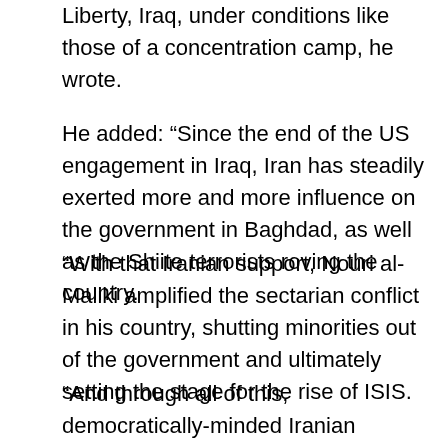Liberty, Iraq, under conditions like those of a concentration camp, he wrote.
He added: “Since the end of the US engagement in Iraq, Iran has steadily exerted more and more influence on the government in Baghdad, as well as the Shiite terrorists roving the country.
“With that Iranian support, Nouri al-Maliki amplified the sectarian conflict in his country, shutting minorities out of the government and ultimately setting the stage for the rise of ISIS.
“And through all of this, democratically-minded Iranian dissidents have been watching the walls of the mullahs’ influence closing around them, waiting for their long-